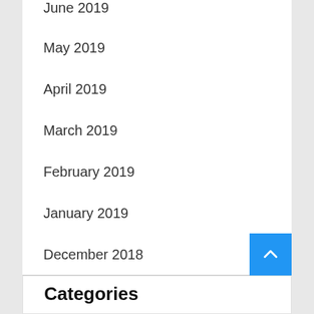June 2019
May 2019
April 2019
March 2019
February 2019
January 2019
December 2018
November 2018
Categories